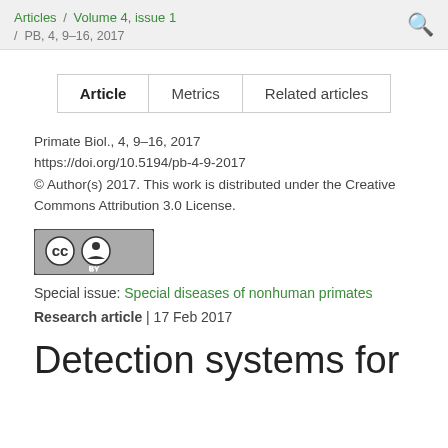Articles / Volume 4, issue 1 / PB, 4, 9–16, 2017
| Article | Metrics | Related articles |
| --- | --- | --- |
Primate Biol., 4, 9–16, 2017
https://doi.org/10.5194/pb-4-9-2017
© Author(s) 2017. This work is distributed under the Creative Commons Attribution 3.0 License.
[Figure (logo): Creative Commons Attribution (CC BY) license badge]
Special issue: Special diseases of nonhuman primates
Research article | 17 Feb 2017
Detection systems for